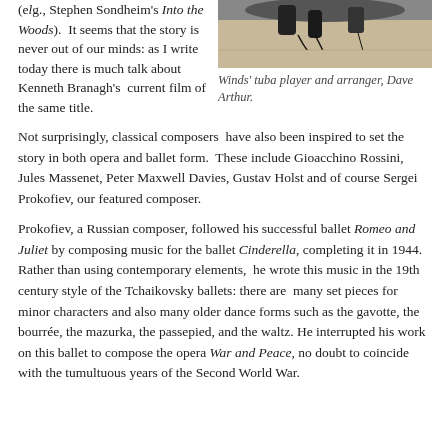(e.g., Stephen Sondheim's Into the Woods).  It seems that the story is never out of our minds: as I write today there is much talk about Kenneth Branagh's  current film of the same title.
[Figure (photo): Photo of a tuba player and arranger Dave Arthur, showing feet and a microphone on a wooden floor]
Winds' tuba player and arranger, Dave Arthur.
Not surprisingly, classical composers  have also been inspired to set the story in both opera and ballet form.  These include Gioacchino Rossini, Jules Massenet, Peter Maxwell Davies, Gustav Holst and of course Sergei Prokofiev, our featured composer.
Prokofiev, a Russian composer, followed his successful ballet Romeo and Juliet by composing music for the ballet Cinderella, completing it in 1944.  Rather than using contemporary elements,  he wrote this music in the 19th century style of the Tchaikovsky ballets: there are  many set pieces for minor characters and also many older dance forms such as the gavotte, the bourrée, the mazurka, the passepied, and the waltz. He interrupted his work on this ballet to compose the opera War and Peace, no doubt to coincide with the tumultuous years of the Second World War.